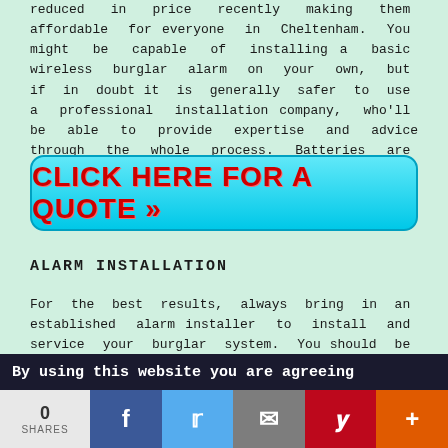reduced in price recently making them affordable for everyone in Cheltenham. You might be capable of installing a basic wireless burglar alarm on your own, but if in doubt it is generally safer to use a professional installation company, who'll be able to provide expertise and advice through the whole process. Batteries are necessary for all sensors and the alarm siren, and they will need to be checked regularly.
[Figure (other): Cyan rounded rectangle button with bold red text reading CLICK HERE FOR A QUOTE >>]
ALARM INSTALLATION
For the best results, always bring in an established alarm installer to install and service your burglar system. You should be able to find numerous burglar alarm companies and contractors in the Cheltenham area who will help you in your choice of burglar alarm to meet your requirements.
A reliable Cheltenham burglar alarm company will carefully consider your requirements and provide solutions that fulfill your precise needs. Even if you've outlined your
By using this website you are agreeing
[Figure (other): Social sharing bar with 0 SHARES, Facebook, Twitter, Email, Pinterest, and Plus buttons]